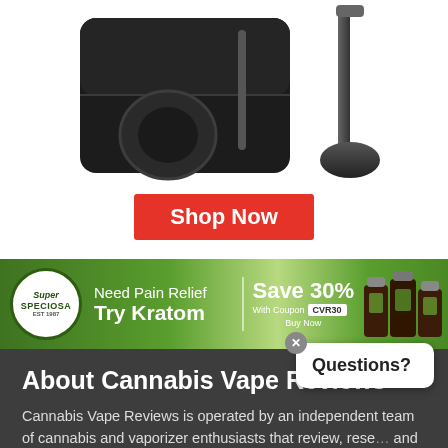[Figure (photo): Product photo of a vaporizer device with black carrying case and accessories]
Shop Now
[Figure (infographic): Super Speciosa Kratom advertisement banner: Need Pain Relief Try Kratom, Save 30% With Coupon CVR30 Buy Now, product bottles shown]
About Cannabis Vape Reviews
Cannabis Vape Reviews is operated by an independent team of cannabis and vaporizer enthusiasts that review, research and recommend vape related products.
Questions?
Want exclusive discounts?
Join Vapelife Club